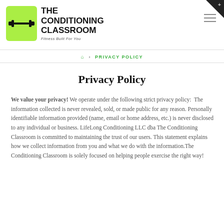[Figure (logo): The Conditioning Classroom logo — green dumbbell icon box with bold black text and tagline 'Fitness Built For You']
Home > PRIVACY POLICY
Privacy Policy
We value your privacy! We operate under the following strict privacy policy:  The information collected is never revealed, sold, or made public for any reason. Personally identifiable information provided (name, email or home address, etc.) is never disclosed to any individual or business. LifeLong Conditioning LLC dba The Conditioning Classroom is committed to maintaining the trust of our users. This statement explains how we collect information from you and what we do with the information.The Conditioning Classroom is solely focused on helping people exercise the right way!